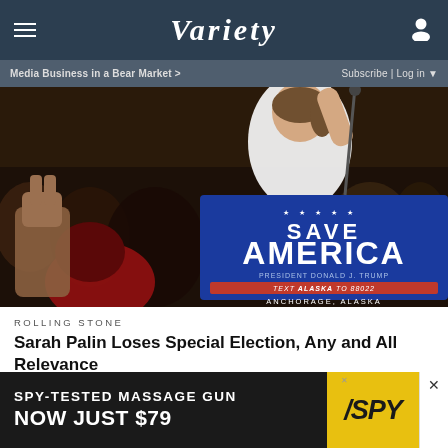VARIETY
Media Business in a Bear Market >    Subscribe | Log in
[Figure (photo): Sarah Palin speaking at a Save America rally in Anchorage, Alaska, with a crowd behind her and a blue podium sign reading SAVE AMERICA, PRESIDENT DONALD J. TRUMP, TEXT ALASKA TO 88022, ANCHORAGE ALASKA]
ROLLING STONE
Sarah Palin Loses Special Election, Any and All Relevance
[Figure (photo): Two thumbnail images at the bottom of the article list]
SPY-TESTED MASSAGE GUN NOW JUST $79 SPY